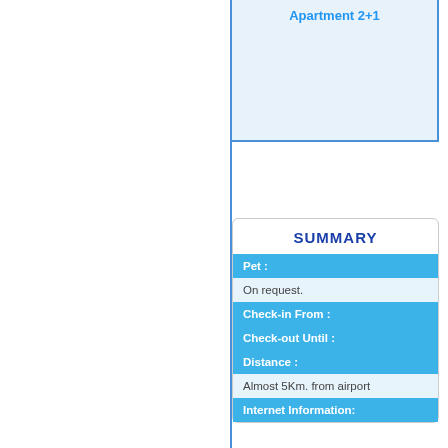Apartment 2+1
SUMMARY
| Pet : |
| On request. |
| Check-in From : |
| Check-out Until : |
| Distance : |
| Almost 5Km. from airport |
| Internet Information: |